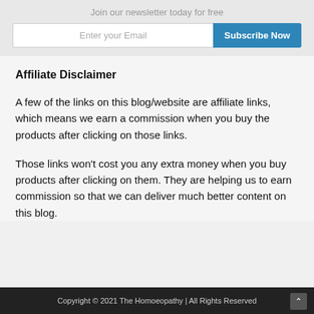Join our newsletter today for free
Enter your Email
Subscribe Now
Affiliate Disclaimer
A few of the links on this blog/website are affiliate links, which means we earn a commission when you buy the products after clicking on those links.
Those links won't cost you any extra money when you buy products after clicking on them. They are helping us to earn commission so that we can deliver much better content on this blog.
Copyright © 2021 The Homoeopathy | All Rights Reserved